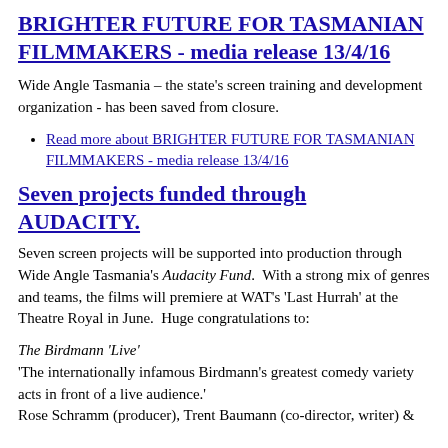BRIGHTER FUTURE FOR TASMANIAN FILMMAKERS - media release 13/4/16
Wide Angle Tasmania – the state's screen training and development organization - has been saved from closure.
Read more about BRIGHTER FUTURE FOR TASMANIAN FILMMAKERS - media release 13/4/16
Seven projects funded through AUDACITY.
Seven screen projects will be supported into production through Wide Angle Tasmania's Audacity Fund. With a strong mix of genres and teams, the films will premiere at WAT's 'Last Hurrah' at the Theatre Royal in June. Huge congratulations to:
The Birdmann 'Live'
'The internationally infamous Birdmann's greatest comedy variety acts in front of a live audience.'
Rose Schramm (producer), Trent Baumann (co-director, writer) &